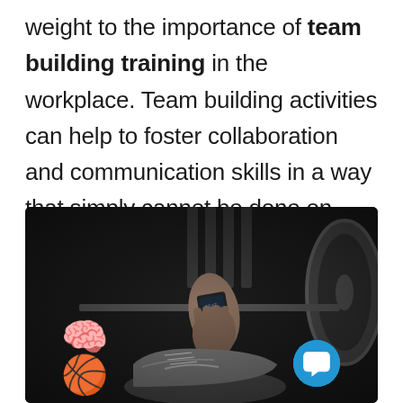weight to the importance of team building training in the workplace. Team building activities can help to foster collaboration and communication skills in a way that simply cannot be done on-the-job.
[Figure (photo): Black and white photo of a person gripping a barbell/weight at a gym, wearing a smartwatch, with a Nike sneaker visible in the foreground. Overlays include a basketball brain emoji icon in the bottom-left and a blue chat button in the bottom-right.]